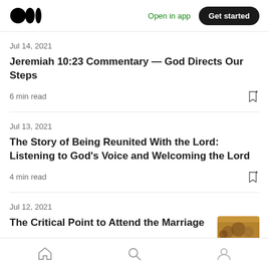Open in app | Get started
Jul 14, 2021
Jeremiah 10:23 Commentary — God Directs Our Steps
6 min read
Jul 13, 2021
The Story of Being Reunited With the Lord: Listening to God's Voice and Welcoming the Lord
4 min read
Jul 12, 2021
The Critical Point to Attend the Marriage
Home | Search | Profile